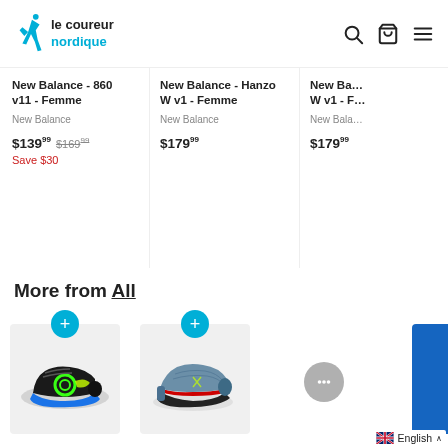le coureur nordique
New Balance - 860 v11 - Femme
New Balance
$139.99  $169.99  Save $30
New Balance - Hanzo W v1 - Femme
New Balance
$179.99
New Ba... W v1 - F...
New Bala...
$179.99
More from All
[Figure (photo): Black and green New Balance running shoe with circular BOA closure]
[Figure (photo): Blue/grey Salomon trail running shoe]
[Figure (photo): Partial blue running shoe]